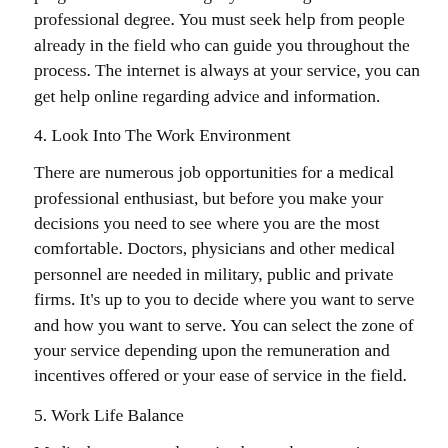programs is essential to get yourself a good medical professional degree. You must seek help from people already in the field who can guide you throughout the process. The internet is always at your service, you can get help online regarding advice and information.
4. Look Into The Work Environment
There are numerous job opportunities for a medical professional enthusiast, but before you make your decisions you need to see where you are the most comfortable. Doctors, physicians and other medical personnel are needed in military, public and private firms. It's up to you to decide where you want to serve and how you want to serve. You can select the zone of your service depending upon the remuneration and incentives offered or your ease of service in the field.
5. Work Life Balance
Medical careers are lucrative but at the same time some of the career paths demand consistent efforts and around the clock service. It becomes one's moral duty to serve long hours and to be on point whenever you are called to work. A dying